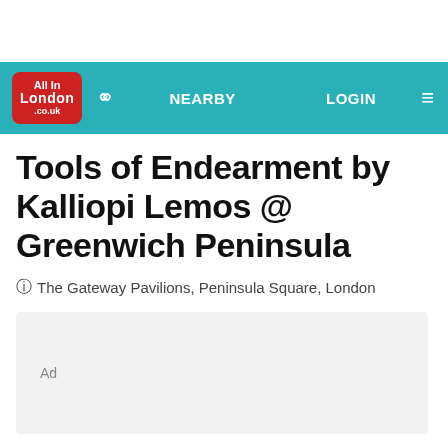All In London .co.uk | NEARBY | LOGIN
Tools of Endearment by Kalliopi Lemos @ Greenwich Peninsula
The Gateway Pavilions, Peninsula Square, London
[Figure (other): Ad placeholder box with light grey background and 'Ad' label]